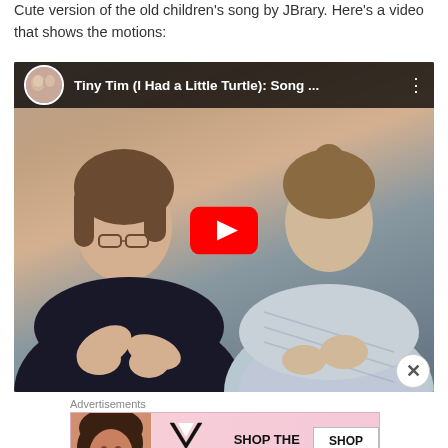Cute version of the old children's song by JBrary. Here's a video that shows the motions:
[Figure (screenshot): YouTube video player showing two women performing hand motions for the children's song 'Tiny Tim (I Had a Little Turtle)'. Title bar shows 'Tiny Tim (I Had a Little Turtle): Song ...' with a circular avatar of two women. A red YouTube play button is overlaid in the center.]
Advertisements
[Figure (photo): Victoria's Secret advertisement banner with pink background, featuring a woman's face on the left, the VS logo with 'Victoria's Secret' text, 'SHOP THE COLLECTION' text, and a 'SHOP NOW' button on the right.]